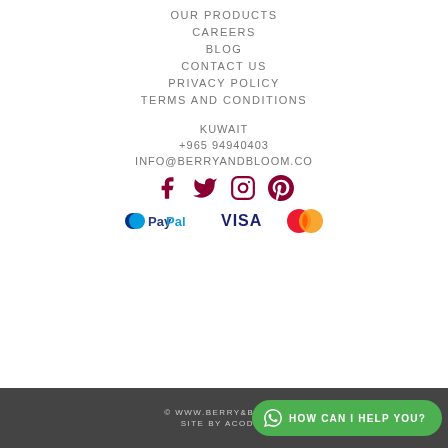OUR PRODUCTS
CAREERS
BLOG
CONTACT US
PRIVACY POLICY
TERMS AND CONDITIONS
KUWAIT
+965 94940403
INFO@BERRYANDBLOOM.CO
[Figure (illustration): Social media icons: Facebook, Twitter, Instagram, Pinterest in dark red/maroon color]
[Figure (illustration): Payment method logos: PayPal, VISA, Mastercard]
© WWW.BERRY&BLOOM  SITE BY ACODEZ
HOW CAN I HELP YOU?